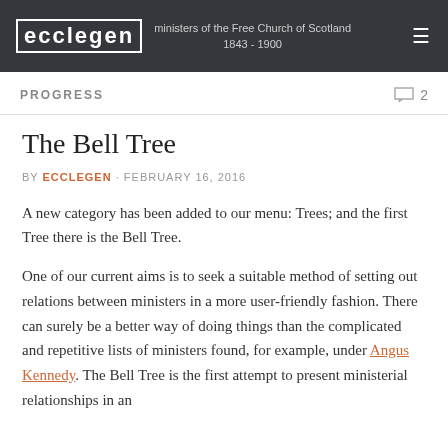ecclegen ministers of the Free Church of Scotland 1843 - 1900
PROGRESS
The Bell Tree
BY ECCLEGEN · FEBRUARY 16, 2016
A new category has been added to our menu: Trees; and the first Tree there is the Bell Tree.
One of our current aims is to seek a suitable method of setting out relations between ministers in a more user-friendly fashion. There can surely be a better way of doing things than the complicated and repetitive lists of ministers found, for example, under Angus Kennedy. The Bell Tree is the first attempt to present ministerial relationships in an